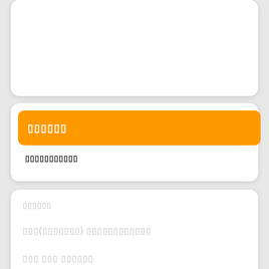[Figure (screenshot): Top white rounded card, partially visible at top of page]
▯▯▯▯▯▯
▯▯▯▯▯▯▯▯▯▯▯
▯▯▯▯▯▯
▯▯▯(▯▯▯▯▯▯▯) ▯▯▯▯▯▯▯▯▯▯▯▯
▯▯▯ ▯▯▯ ▯▯▯▯▯▯
▯▯▯▯▯▯(writing)▯▯▯▯▯ ▯▯▯▯▯▯▯▯▯
OSASCOMP(▯▯▯▯▯▯▯) ▯▯▯▯▯▯ ▯▯▯▯▯
▯▯▯▯▯ a an the▯▯▯▯▯▯▯▯▯▯ ▯▯▯▯